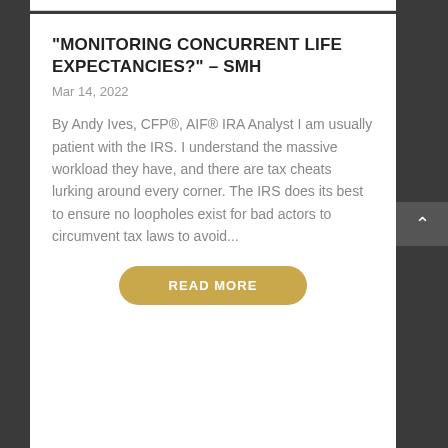“MONITORING CONCURRENT LIFE EXPECTANCIES?” – SMH
Mar 14, 2022
By Andy Ives, CFP®, AIF® IRA Analyst I am usually patient with the IRS. I understand the massive workload they have, and there are tax cheats lurking around every corner. The IRS does its best to ensure no loopholes exist for bad actors to circumvent tax laws to avoid...
READ MORE